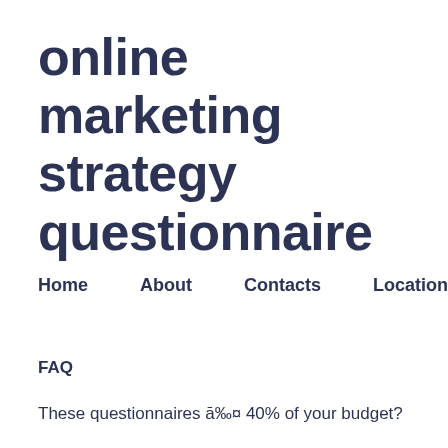online marketing strategy questionnaire
Home    About    Contacts    Location
FAQ
These questionnaires ā‰¤ 40% of your budget?